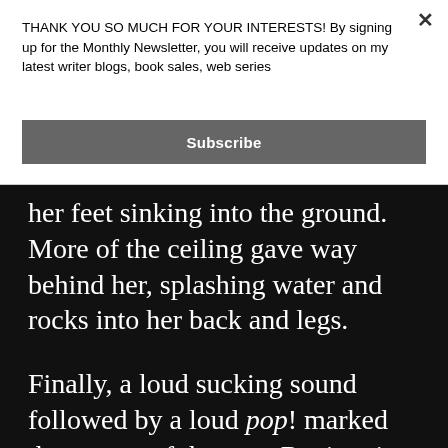THANK YOU SO MUCH FOR YOUR INTERESTS! By signing up for the Monthly Newsletter, you will receive updates on my latest writer blogs, book sales, web series
Subscribe
her feet sinking into the ground. More of the ceiling gave way behind her, splashing water and rocks into her back and legs.
Finally, a loud sucking sound followed by a loud pop! marked the escape of the poor Revie-ati woman.